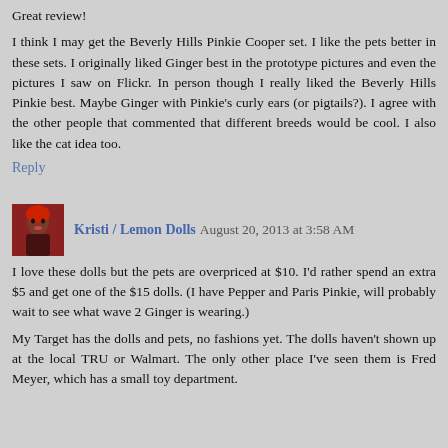Great review!
I think I may get the Beverly Hills Pinkie Cooper set. I like the pets better in these sets. I originally liked Ginger best in the prototype pictures and even the pictures I saw on Flickr. In person though I really liked the Beverly Hills Pinkie best. Maybe Ginger with Pinkie's curly ears (or pigtails?). I agree with the other people that commented that different breeds would be cool. I also like the cat idea too.
Reply
Kristi / Lemon Dolls  August 20, 2013 at 3:58 AM
I love these dolls but the pets are overpriced at $10. I'd rather spend an extra $5 and get one of the $15 dolls. (I have Pepper and Paris Pinkie, will probably wait to see what wave 2 Ginger is wearing.)
My Target has the dolls and pets, no fashions yet. The dolls haven't shown up at the local TRU or Walmart. The only other place I've seen them is Fred Meyer, which has a small toy department.